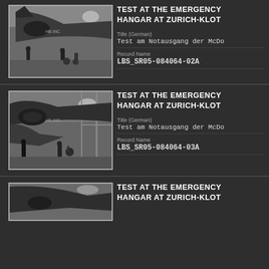[Figure (photo): Black and white photo of aircraft in hangar at Zurich-Kloten, workers visible near aircraft]
TEST AT THE EMERGENCY HANGAR AT ZURICH-KLOT
Title (German)
Test am Notausgang der McDo
Record Name
LBS_SR05-084064-02A
[Figure (photo): Black and white photo of aircraft with HB-IND marking in hangar, workers visible]
TEST AT THE EMERGENCY HANGAR AT ZURICH-KLOT
Title (German)
Test am Notausgang der McDo
Record Name
LBS_SR05-084064-03A
[Figure (photo): Black and white photo of aircraft in hangar, partial view]
TEST AT THE EMERGENCY HANGAR AT ZURICH-KLOT